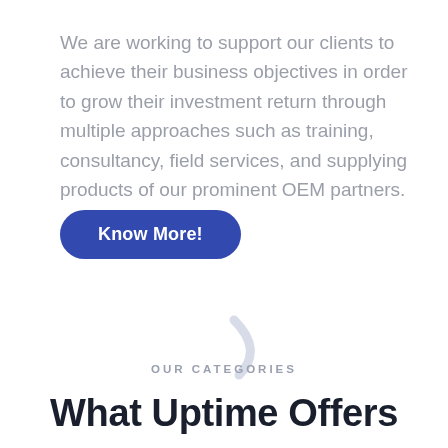We are working to support our clients to achieve their business objectives in order to grow their investment return through multiple approaches such as training, consultancy, field services, and supplying products of our prominent OEM partners.
[Figure (other): Blue rounded rectangle button with white text 'Know More!']
[Figure (illustration): Light gray curved swoosh/arc decorative graphic element]
OUR CATEGORIES
What Uptime Offers